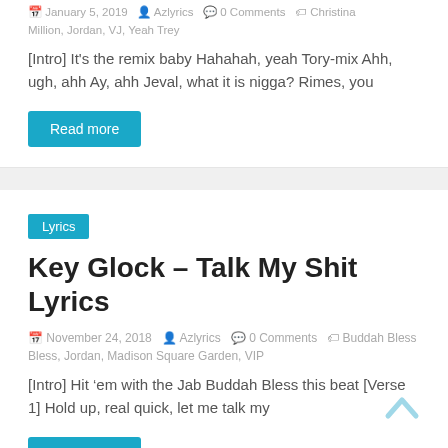January 5, 2019 · Azlyrics · 0 Comments · Christina Million, Jordan, VJ, Yeah Trey
[Intro] It's the remix baby Hahahah, yeah Tory-mix Ahh, ugh, ahh Ay, ahh Jeval, what it is nigga? Rimes, you
Read more
Lyrics
Key Glock – Talk My Shit Lyrics
November 24, 2018 · Azlyrics · 0 Comments · Buddah Bless, Jordan, Madison Square Garden, VIP
[Intro] Hit 'em with the Jab Buddah Bless this beat [Verse 1] Hold up, real quick, let me talk my
Read more